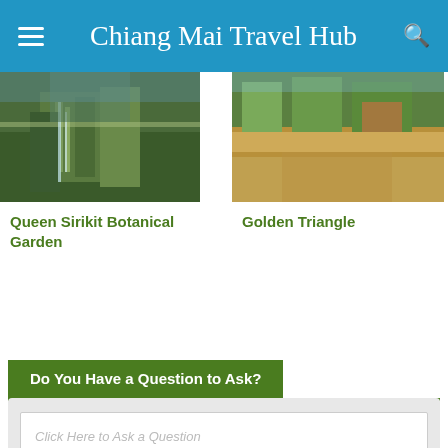Chiang Mai Travel Hub
[Figure (photo): Photo of Queen Sirikit Botanical Garden with waterfall and lush greenery]
Queen Sirikit Botanical Garden
[Figure (photo): Aerial photo of Golden Triangle showing river and green landscape]
Golden Triangle
Do You Have a Question to Ask?
Click Here to Ask a Question